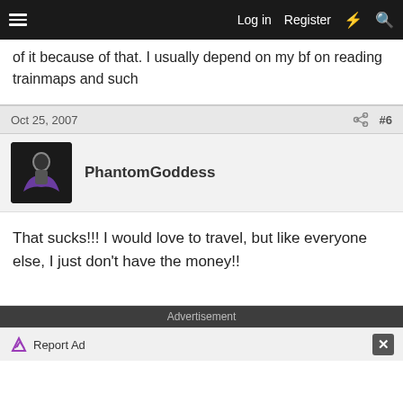Log in   Register
of it because of that. I usually depend on my bf on reading trainmaps and such
Oct 25, 2007  #6
PhantomGoddess
That sucks!!! I would love to travel, but like everyone else, I just don't have the money!!
Advertisement
Report Ad